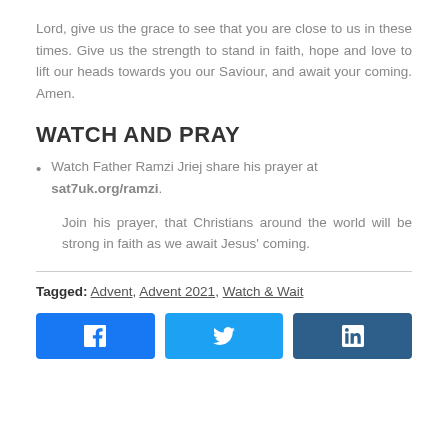Lord, give us the grace to see that you are close to us in these times. Give us the strength to stand in faith, hope and love to lift our heads towards you our Saviour, and await your coming. Amen.
WATCH AND PRAY
Watch Father Ramzi Jriej share his prayer at sat7uk.org/ramzi.
Join his prayer, that Christians around the world will be strong in faith as we await Jesus' coming.
Tagged: Advent, Advent 2021, Watch & Wait
[Figure (other): Social sharing buttons for Facebook, Twitter, and LinkedIn]